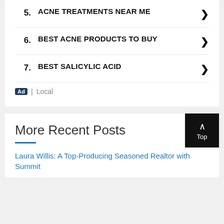5. ACNE TREATMENTS NEAR ME
6. BEST ACNE PRODUCTS TO BUY
7. BEST SALICYLIC ACID
Ad | Local
More Recent Posts
Laura Willis: A Top-Producing Seasoned Realtor with Summit